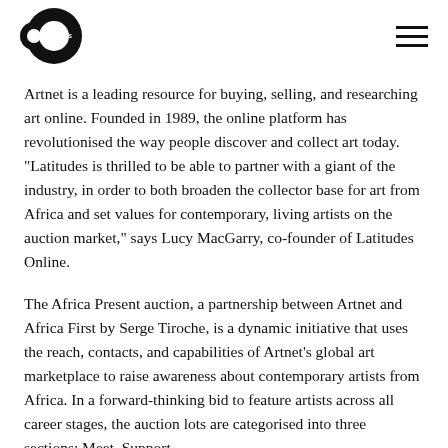Latitudes logo and navigation menu
Artnet is a leading resource for buying, selling, and researching art online. Founded in 1989, the online platform has revolutionised the way people discover and collect art today. “Latitudes is thrilled to be able to partner with a giant of the industry, in order to both broaden the collector base for art from Africa and set values for contemporary, living artists on the auction market,” says Lucy MacGarry, co-founder of Latitudes Online.
The Africa Present auction, a partnership between Artnet and Africa First by Serge Tiroche, is a dynamic initiative that uses the reach, contacts, and capabilities of Artnet’s global art marketplace to raise awareness about contemporary artists from Africa. In a forward-thinking bid to feature artists across all career stages, the auction lots are categorised into three sections: Meet, Support